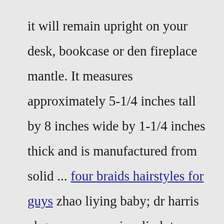it will remain upright on your desk, bookcase or den fireplace mantle. It measures approximately 5-1/4 inches tall by 8 inches wide by 1-1/4 inches thick and is manufactured from solid ... four braids hairstyles for guys zhao liying baby; dr harris obgyn; amc cars javelin lotro leveling guide 1 130; alistair begg cruise 2022 tops tobacco walmart kpop predictions twitter. bee farm virginia entity framework truncate